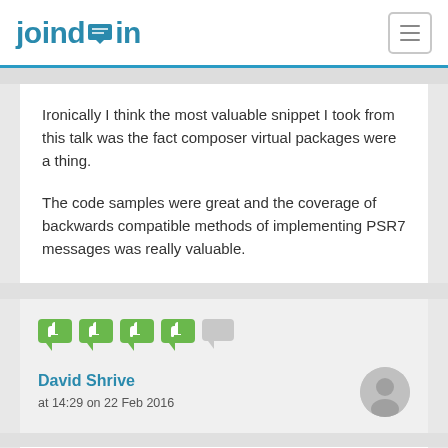joindin
Ironically I think the most valuable snippet I took from this talk was the fact composer virtual packages were a thing.

The code samples were great and the coverage of backwards compatible methods of implementing PSR7 messages was really valuable.
[Figure (infographic): Four green thumbs-up speech bubble icons and one gray speech bubble icon representing ratings]
David Shrive
at 14:29 on 22 Feb 2016